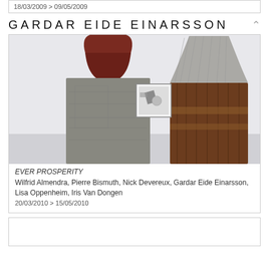18/03/2009 > 09/05/2009
GARDAR EIDE EINARSSON
[Figure (photo): Gallery installation photo showing two large sculptural columns — one concrete and one made of reclaimed wood planks — with a small framed artwork visible on the white wall in the background.]
EVER PROSPERITY
Wilfrid Almendra, Pierre Bismuth, Nick Devereux, Gardar Eide Einarsson, Lisa Oppenheim, Iris Van Dongen
20/03/2010 > 15/05/2010